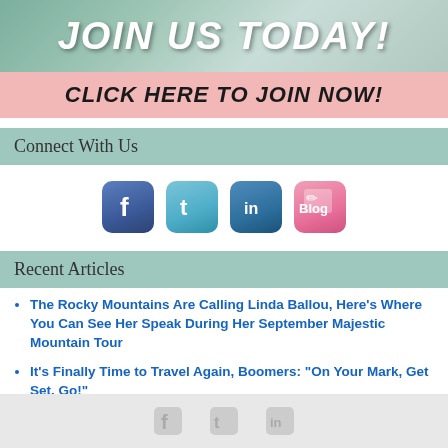[Figure (illustration): Banner image with colorful background and text JOIN US TODAY! in large italic white letters]
CLICK HERE TO JOIN NOW!
Connect With Us
[Figure (illustration): Four social media icon buttons: Facebook, Twitter, LinkedIn, Blog]
Recent Articles
The Rocky Mountains Are Calling Linda Ballou, Here’s Where You Can See Her Speak During Her September Majestic Mountain Tour
It’s Finally Time to Travel Again, Boomers: “On Your Mark, Get Set, Go!”
Footer with Facebook, Twitter, LinkedIn icons